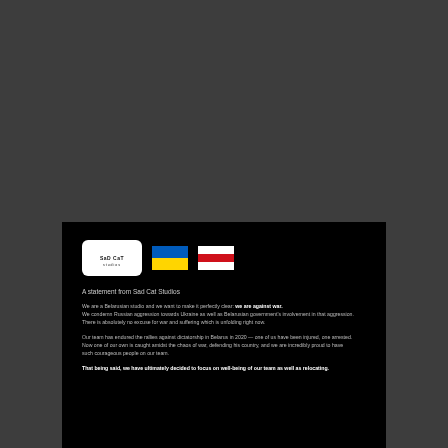[Figure (logo): Sad Cat Studios logo (white cat silhouette on white background with 'Sad Cat studios' text), Ukrainian flag, and Belarusian opposition flag]
A statement from Sad Cat Studios
We are a Belarusian studio and we want to make it perfectly clear: we are against war. We condemn Russian aggression towards Ukraine as well as Belarusian government's involvement in that aggression. There is absolutely no excuse for war and suffering which is unfolding right now.
Our team has endured the rallies against dictatorship in Belarus in 2020 — one of us have been injured, one arrested. Now one of our own is caught amidst the chaos of war, defending his country, and we are incredibly proud to have such courageous people on our team.
That being said, we have ultimately decided to focus on well-being of our team as well as relocating.